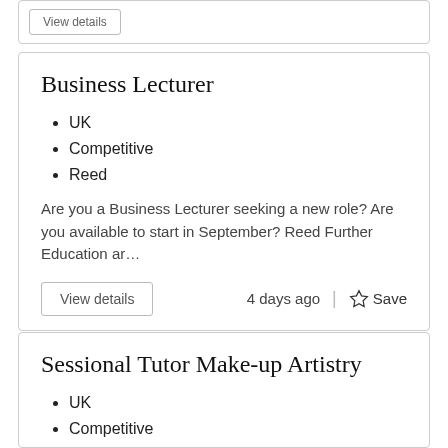Business Lecturer
UK
Competitive
Reed
Are you a Business Lecturer seeking a new role? Are you available to start in September? Reed Further Education ar…
View details
4 days ago
Save
Sessional Tutor Make-up Artistry
UK
Competitive
Empowering Learning